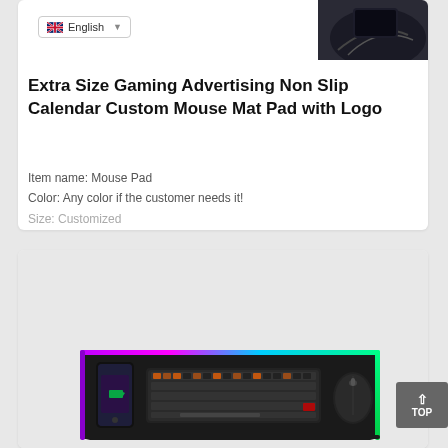[Figure (screenshot): Language selector dropdown showing English with UK flag]
[Figure (photo): Partial view of a dark gaming mouse pad product image in top right corner]
Extra Size Gaming Advertising Non Slip Calendar Custom Mouse Mat Pad with Logo
Item name: Mouse Pad
Color: Any color if the customer needs it!
Size: Customized
[Figure (photo): RGB gaming desk mat with keyboard, mouse, and smartphone shown on top, with colorful LED border lighting]